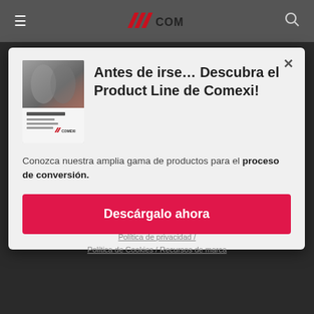≡  COMEXI  🔍
Antes de irse… Descubra el Product Line de Comexi!
Conozca nuestra amplia gama de productos para el proceso de conversión.
Descárgalo ahora
Política de privacidad /
Política de Cookies / Recursos de marca